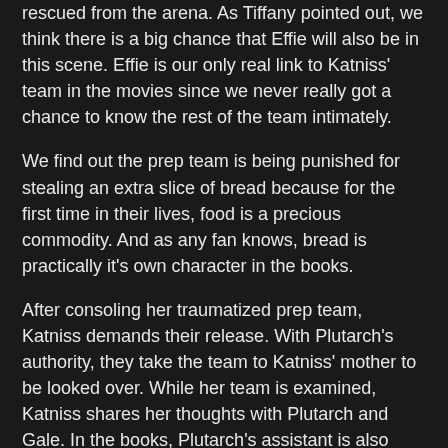rescued from the arena. As Tiffany pointed out, we think there is a big chance that Effie will also be in this scene. Effie is our only real link to Katniss' team in the movies since we never really got a chance to know the rest of the team intimately.
We find out the prep team is being punished for stealing an extra slice of bread because for the first time in their lives, food is a precious commodity. And as any fan knows, bread is practically it's own character in the books.
After consoling her traumatized prep team, Katniss demands their release. With Plutarch's authority, they take the team to Katniss' mother to be looked over. While her team is examined, Katniss shares her thoughts with Plutarch and Gale. In the books, Plutarch's assistant is also there, but we believe her character will be replaced with more Effie (yay!). Katniss has come to the conclusion that her prep team being punished is a warning to Katniss and her friends and no matter who Katniss is and what she demands, Coin is in charge.